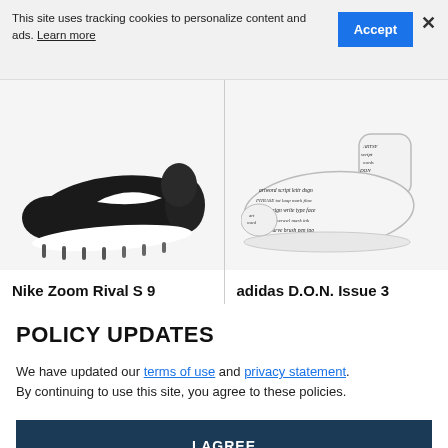This site uses tracking cookies to personalize content and ads. Learn more
Accept
×
[Figure (photo): Nike Zoom Rival S 9 black track spike shoe with white swoosh and metal spikes on sole]
[Figure (photo): adidas D.O.N. Issue 3 white high-top basketball shoe with black graffiti text pattern covering entire upper]
Nike Zoom Rival S 9
adidas D.O.N. Issue 3
POLICY UPDATES
We have updated our terms of use and privacy statement. By continuing to use this site, you agree to these policies.
I AGREE